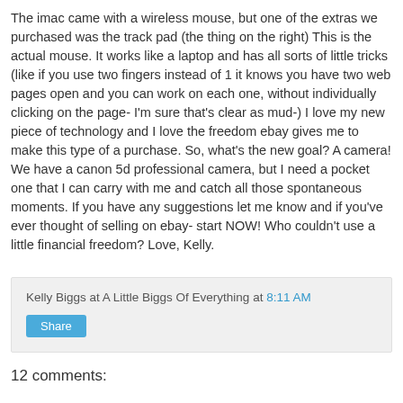The imac came with a wireless mouse, but one of the extras we purchased was the track pad (the thing on the right) This is the actual mouse. It works like a laptop and has all sorts of little tricks (like if you use two fingers instead of 1 it knows you have two web pages open and you can work on each one, without individually clicking on the page- I'm sure that's clear as mud-) I love my new piece of technology and I love the freedom ebay gives me to make this type of a purchase. So, what's the new goal? A camera! We have a canon 5d professional camera, but I need a pocket one that I can carry with me and catch all those spontaneous moments. If you have any suggestions let me know and if you've ever thought of selling on ebay- start NOW! Who couldn't use a little financial freedom? Love, Kelly.
Kelly Biggs at A Little Biggs Of Everything at 8:11 AM
Share
12 comments: